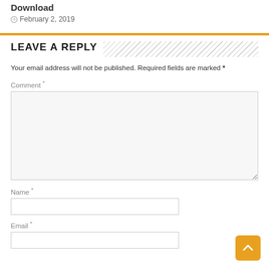Download
February 2, 2019
LEAVE A REPLY
Your email address will not be published. Required fields are marked *
Comment *
Name *
Email *